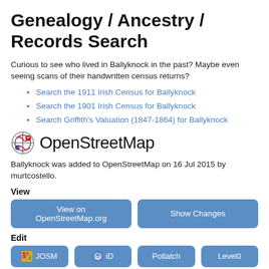Genealogy / Ancestry / Records Search
Curious to see who lived in Ballyknock in the past? Maybe even seeing scans of their handwritten census returns?
Search the 1911 Irish Census for Ballyknock
Search the 1901 Irish Census for Ballyknock
Search Griffith's Valuation (1847-1864) for Ballyknock
OpenStreetMap
Ballyknock was added to OpenStreetMap on 16 Jul 2015 by murtcostello.
View
View on OpenStreetMap.org
Show Changes
Edit
JOSM
iD
Potlatch
Level0